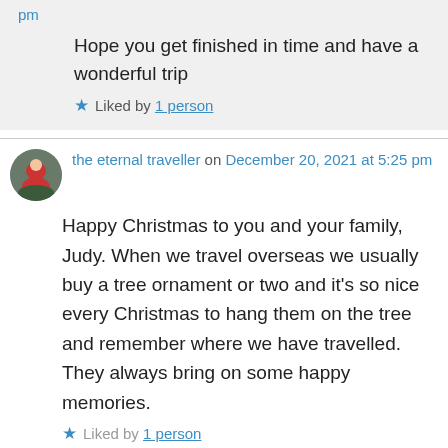pm
Hope you get finished in time and have a wonderful trip
Liked by 1 person
the eternal traveller on December 20, 2021 at 5:25 pm
Happy Christmas to you and your family, Judy. When we travel overseas we usually buy a tree ornament or two and it's so nice every Christmas to hang them on the tree and remember where we have travelled. They always bring on some happy memories.
Liked by 1 person